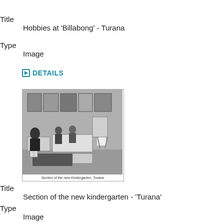Title
    Hobbies at 'Billabong' - Turana
Type
    Image
DETAILS
[Figure (photo): Black and white photograph of children in a kindergarten room with artwork on the walls, seated at tables with a teacher. Caption reads: Section of the new Kindergarten, Turana.]
Title
    Section of the new kindergarten - 'Turana'
Type
    Image